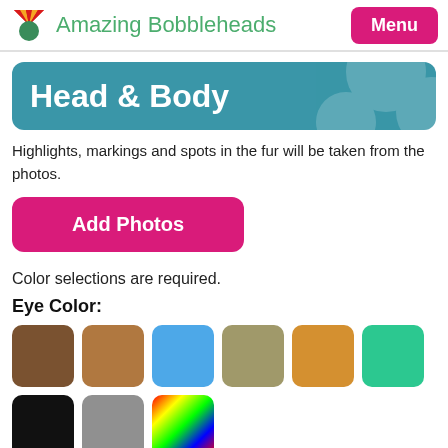Amazing Bobbleheads | Menu
Head & Body
Highlights, markings and spots in the fur will be taken from the photos.
Add Photos
Color selections are required.
Eye Color:
[Figure (other): Color swatches for eye color selection: dark brown, tan/caramel, blue, olive/khaki, orange/golden, green, black, gray, rainbow/multicolor]